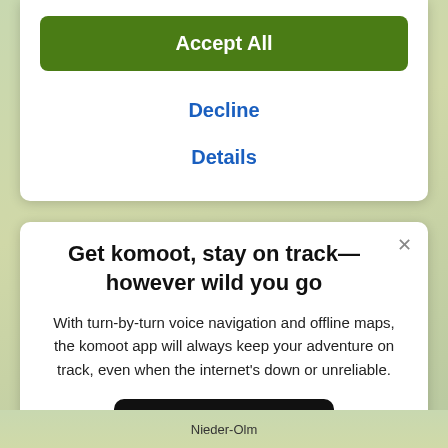Accept All
Decline
Details
Get komoot, stay on track—however wild you go
With turn-by-turn voice navigation and offline maps, the komoot app will always keep your adventure on track, even when the internet's down or unreliable.
Download on the App Store
Nieder-Olm